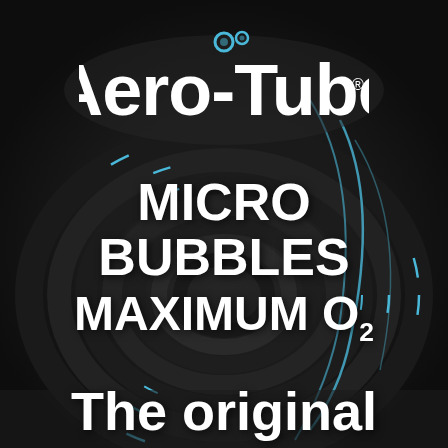[Figure (logo): Aero-Tube brand logo with blue bubble icon above the text, on dark background with coiled aeration tube product photography]
MICRO BUBBLES MAXIMUM O2
The original